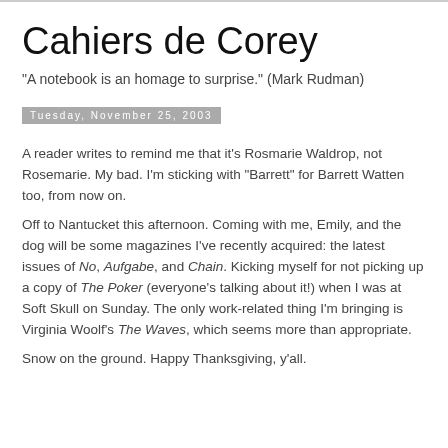Cahiers de Corey
"A notebook is an homage to surprise." (Mark Rudman)
Tuesday, November 25, 2003
A reader writes to remind me that it's Rosmarie Waldrop, not Rosemarie. My bad. I'm sticking with "Barrett" for Barrett Watten too, from now on.
Off to Nantucket this afternoon. Coming with me, Emily, and the dog will be some magazines I've recently acquired: the latest issues of No, Aufgabe, and Chain. Kicking myself for not picking up a copy of The Poker (everyone's talking about it!) when I was at Soft Skull on Sunday. The only work-related thing I'm bringing is Virginia Woolf's The Waves, which seems more than appropriate.
Snow on the ground. Happy Thanksgiving, y'all.